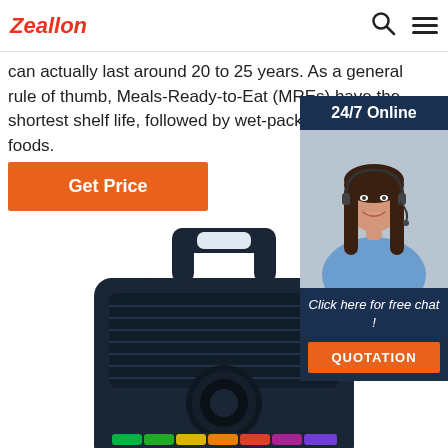Zeallon
can actually last around 20 to 25 years. As a general rule of thumb, Meals-Ready-to-Eat (MREs) have the shortest shelf life, followed by wet-packed canned foods.
Get Price
[Figure (photo): 24/7 Online customer service widget with a woman wearing a headset, and a QUOTATION button]
[Figure (photo): Portable Bluetooth speaker with handle, dark blue/black color, with LED light strip at bottom]